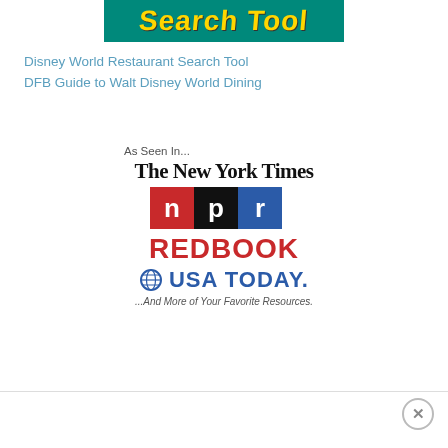[Figure (illustration): Partial banner image showing 'Search Tool' text in yellow on teal/green background with a magnifying glass graphic]
Disney World Restaurant Search Tool
DFB Guide to Walt Disney World Dining
[Figure (logo): As Seen In... composite logo image showing The New York Times, NPR, REDBOOK, USA TODAY, and ...And More of Your Favorite Resources.]